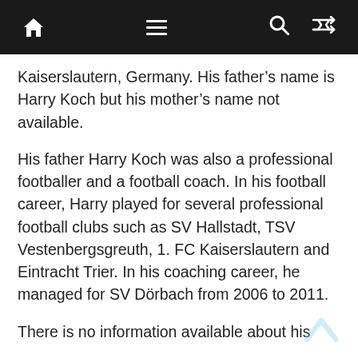[navigation bar with home, menu, search, shuffle icons]
Kaiserslautern, Germany. His father’s name is Harry Koch but his mother’s name not available.
His father Harry Koch was also a professional footballer and a football coach. In his football career, Harry played for several professional football clubs such as SV Hallstadt, TSV Vestenbergsgreuth, 1. FC Kaiserslautern and Eintracht Trier. In his coaching career, he managed for SV Dörbach from 2006 to 2011.
There is no information available about his